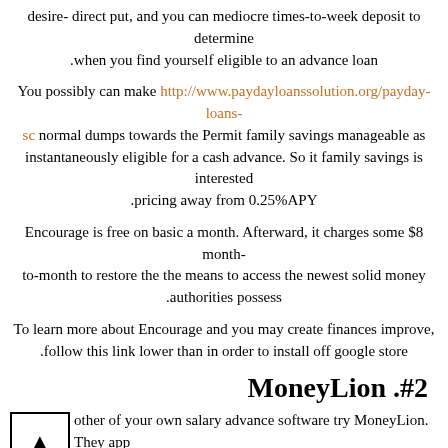desire- direct put, and you can mediocre times-to-week deposit to determine .when you find yourself eligible to an advance loan
You possibly can make http://www.paydayloanssolution.org/payday-loans-sc normal dumps towards the Permit family savings manageable as instantaneously eligible for a cash advance. So it family savings is interested .pricing away from 0.25%APY
Encourage is free on basic a month. Afterward, it charges some $8 month-to-month to restore the the means to access the newest solid money authorities possess.
To learn more about Encourage and you may create finances improve, .follow this link lower than in order to install off google store
MoneyLion .#2
other of your own salary advance software try MoneyLion. They app even offers a totally free payday loans to help you $250 straight to your